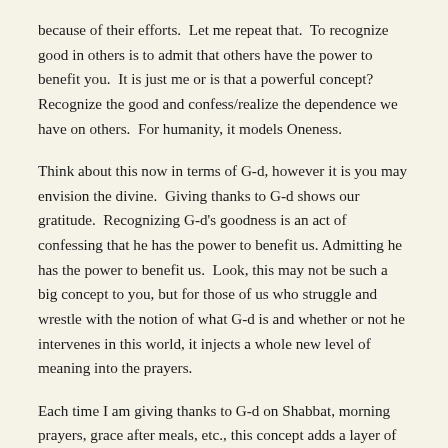because of their efforts.  Let me repeat that.  To recognize good in others is to admit that others have the power to benefit you.  It is just me or is that a powerful concept?  Recognize the good and confess/realize the dependence we have on others.  For humanity, it models Oneness.
Think about this now in terms of G-d, however it is you may envision the divine.  Giving thanks to G-d shows our gratitude.  Recognizing G-d's goodness is an act of confessing that he has the power to benefit us. Admitting he has the power to benefit us.  Look, this may not be such a big concept to you, but for those of us who struggle and wrestle with the notion of what G-d is and whether or not he intervenes in this world, it injects a whole new level of meaning into the prayers.
Each time I am giving thanks to G-d on Shabbat, morning prayers, grace after meals, etc., this concept adds a layer of vulnerability, a suspension of the mundane, a brush with the